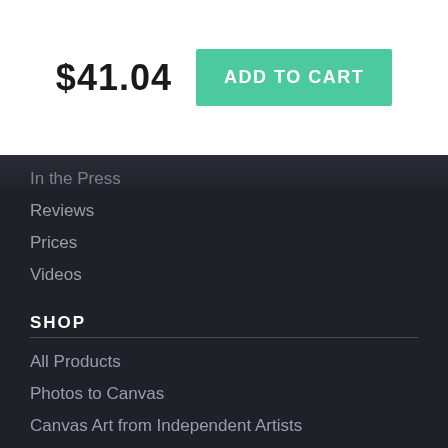$41.04
ADD TO CART
In the Press
Reviews
Prices
Videos
SHOP
All Products
Photos to Canvas
Canvas Art from Independent Artists
Framed Canvas Prints
Photos to Art
CONTACT
Contact Us
FAQ
Return Policy
Returns